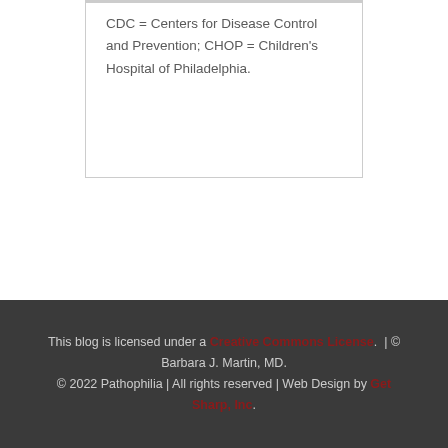CDC = Centers for Disease Control and Prevention; CHOP = Children's Hospital of Philadelphia.
This blog is licensed under a Creative Commons License. | © Barbara J. Martin, MD. © 2022 Pathophilia | All rights reserved | Web Design by Get Sharp, Inc.